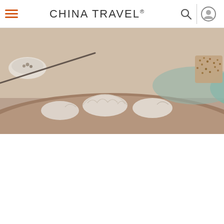CHINA TRAVEL®
[Figure (photo): Close-up photo of Chinese dumplings (jiaozi) arranged on a brown plate with a small bowl and chopstick visible, slightly blurred/muted tones]